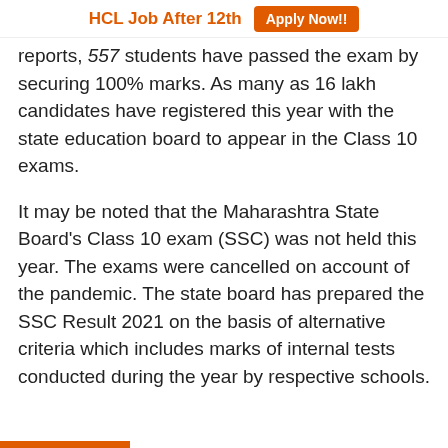HCL Job After 12th   Apply Now!!
reports, 557 students have passed the exam by securing 100% marks. As many as 16 lakh candidates have registered this year with the state education board to appear in the Class 10 exams.
It may be noted that the Maharashtra State Board's Class 10 exam (SSC) was not held this year. The exams were cancelled on account of the pandemic. The state board has prepared the SSC Result 2021 on the basis of alternative criteria which includes marks of internal tests conducted during the year by respective schools.